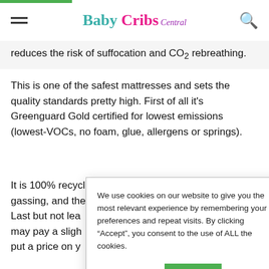Baby Cribs Central
reduces the risk of suffocation and CO2 rebreathing.
This is one of the safest mattresses and sets the quality standards pretty high. First of all it's Greenguard Gold certified for lowest emissions (lowest-VOCs, no foam, glue, allergens or springs).
It is 100% recycl[able with no off-]gassing, and the[...] Last but not lea[st...] may pay a sligh[t premium but you can't] put a price on y[our baby's safety].
We use cookies on our website to give you the most relevant experience by remembering your preferences and repeat visits. By clicking “Accept”, you consent to the use of ALL the cookies.
Cookie settings
ACCEPT